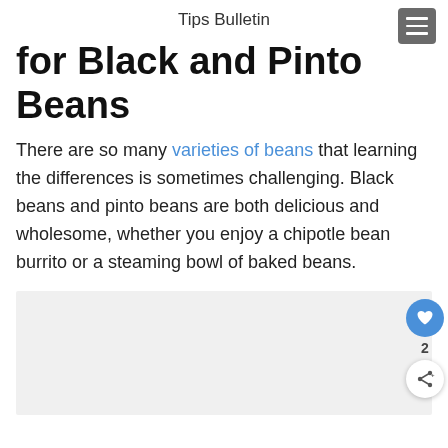Tips Bulletin
for Black and Pinto Beans
There are so many varieties of beans that learning the differences is sometimes challenging. Black beans and pinto beans are both delicious and wholesome, whether you enjoy a chipotle bean burrito or a steaming bowl of baked beans.
[Figure (other): Light gray image placeholder area for Black and Pinto Beans article photo]